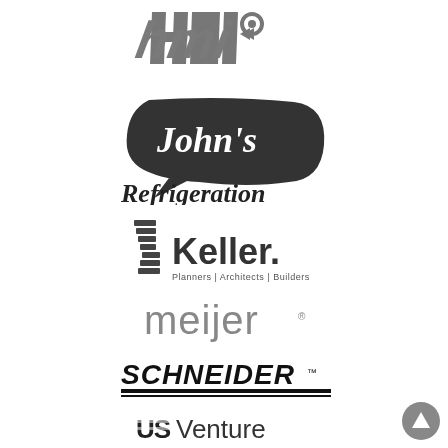[Figure (logo): HMI logo in gray stylized italic letters with geometric shapes]
[Figure (logo): John's Refrigeration logo with dark speech bubble and script text]
[Figure (logo): Keller Planners Architects Builders logo with stylized K and company name]
[Figure (logo): meijer logo in gray lowercase sans-serif text with registered trademark]
[Figure (logo): SCHNEIDER logo in bold black italic text with underline]
[Figure (logo): US Venture logo with stylized US flag motif and Venture text]